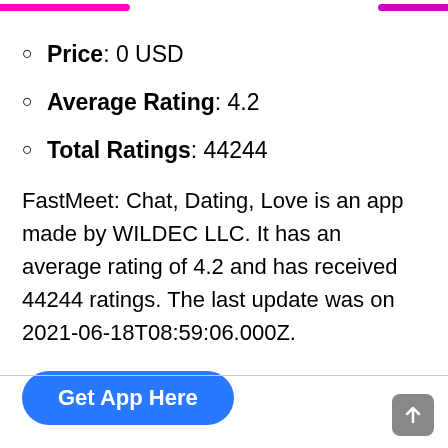Price: 0 USD
Average Rating: 4.2
Total Ratings: 44244
FastMeet: Chat, Dating, Love is an app made by WILDEC LLC. It has an average rating of 4.2 and has received 44244 ratings. The last update was on 2021-06-18T08:59:06.000Z.
Get App Here